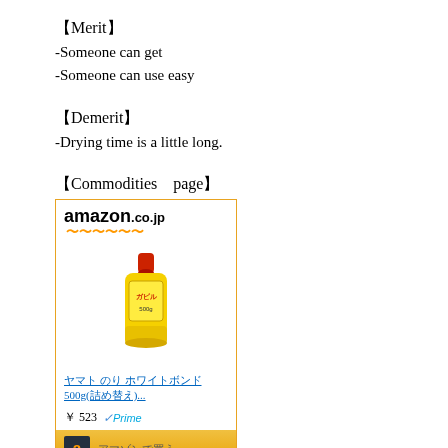【Merit】
-Someone can get
-Someone can use easy
【Demerit】
-Drying time is a little long.
【Commodities　page】
[Figure (screenshot): Amazon.co.jp product listing screenshot showing a yellow glue bottle (500g) with red cap, priced at ￥523 with Prime, and an Amazon footer button with Japanese text.]
3."Bond G17"(one of liqud glue in Japan)